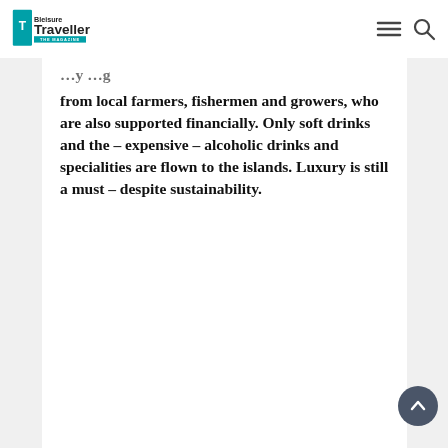Bleisure Traveller – The Magazine
from local farmers, fishermen and growers, who are also supported financially. Only soft drinks and the – expensive – alcoholic drinks and specialities are flown to the islands. Luxury is still a must – despite sustainability.